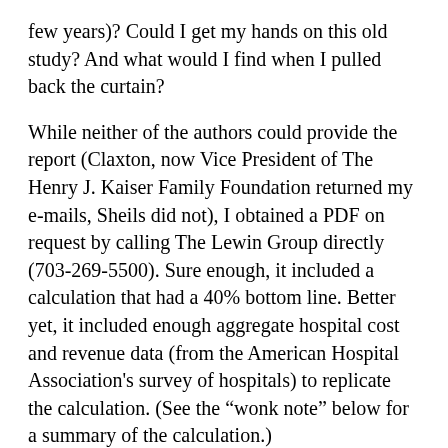few years)? Could I get my hands on this old study? And what would I find when I pulled back the curtain?
While neither of the authors could provide the report (Claxton, now Vice President of The Henry J. Kaiser Family Foundation returned my e-mails, Sheils did not), I obtained a PDF on request by calling The Lewin Group directly (703-269-5500). Sure enough, it included a calculation that had a 40% bottom line. Better yet, it included enough aggregate hospital cost and revenue data (from the American Hospital Association’s survey of hospitals) to replicate the calculation. (See the “wonk note” below for a summary of the calculation.)
There is a key assumption embedded in the calculation, that costs are beyond control of hospital managers. Working through the calculation, every additional dollar of cost produces an additional dollar of public to private